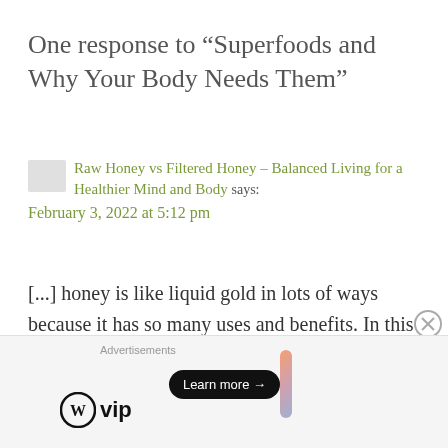One response to “Superfoods and Why Your Body Needs Them”
Raw Honey vs Filtered Honey – Balanced Living for a Healthier Mind and Body says:
February 3, 2022 at 5:12 pm
[...] honey is like liquid gold in lots of ways because it has so many uses and benefits. In this blog post, I listed some superfoods that I like and raw honey was one of [...]
Advertisements
[Figure (logo): WordPress VIP logo with circle W icon and 'vip' text, alongside an advertisement banner with gradient background and 'Learn more →' button]